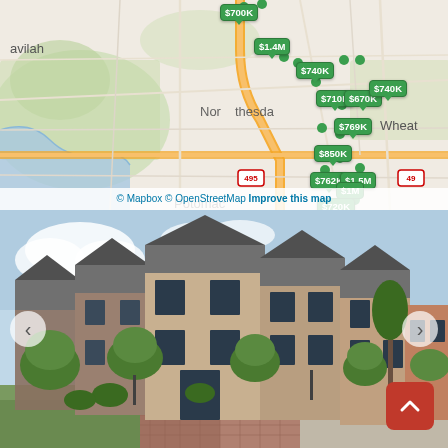[Figure (map): Street map showing Potomac, North Bethesda, Aspen Hill, and Wheaton areas near I-495, with green price markers showing property listings: $700K, $1.4M, $740K, $710K, $670K, $740K, $769K, $850K, $762K, $1.5M, $720K, $1M. Attribution: © Mapbox © OpenStreetMap Improve this map]
[Figure (photo): Exterior photo of upscale brick townhomes with dark metal roofs, large windows, mature trees and landscaping, brick paver driveway, residential neighborhood setting]